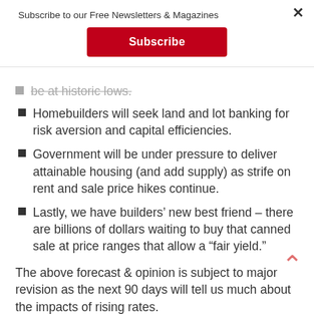Subscribe to our Free Newsletters & Magazines
Subscribe
be at historic lows.
Homebuilders will seek land and lot banking for risk aversion and capital efficiencies.
Government will be under pressure to deliver attainable housing (and add supply) as strife on rent and sale price hikes continue.
Lastly, we have builders' new best friend – there are billions of dollars waiting to buy that canned sale at price ranges that allow a “fair yield.”
The above forecast & opinion is subject to major revision as the next 90 days will tell us much about the impacts of rising rates.